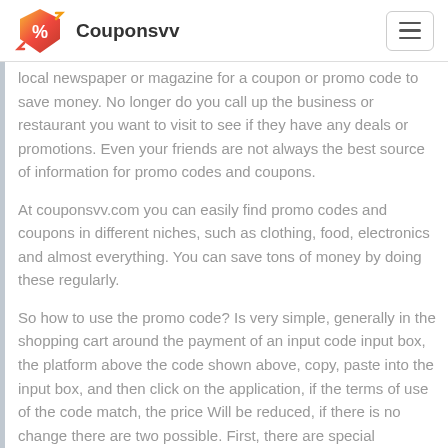Couponsvv
local newspaper or magazine for a coupon or promo code to save money. No longer do you call up the business or restaurant you want to visit to see if they have any deals or promotions. Even your friends are not always the best source of information for promo codes and coupons.
At couponsvv.com you can easily find promo codes and coupons in different niches, such as clothing, food, electronics and almost everything. You can save tons of money by doing these regularly.
So how to use the promo code? Is very simple, generally in the shopping cart around the payment of an input code input box, the platform above the code shown above, copy, paste into the input box, and then click on the application, if the terms of use of the code match, the price Will be reduced, if there is no change there are two possible. First, there are special